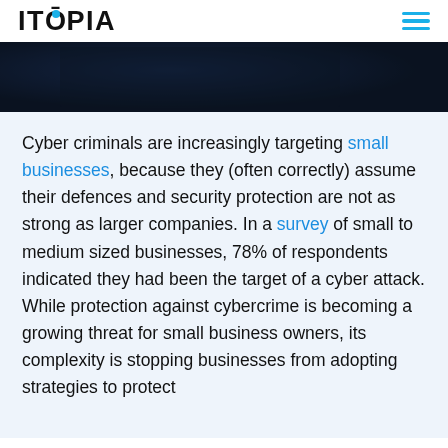ITOPIA
[Figure (photo): Dark blue toned hero image showing a person in shadow, cybersecurity themed]
Cyber criminals are increasingly targeting small businesses, because they (often correctly) assume their defences and security protection are not as strong as larger companies. In a survey of small to medium sized businesses, 78% of respondents indicated they had been the target of a cyber attack. While protection against cybercrime is becoming a growing threat for small business owners, its complexity is stopping businesses from adopting strategies to protect